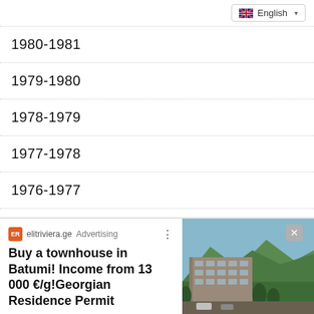English
1980-1981
1979-1980
1978-1979
1977-1978
1976-1977
1975-1976
1974-1975
[Figure (screenshot): Advertisement banner for elitriviera.ge showing 'Buy a townhouse in Batumi! Income from 13 000 €/g! Georgian Residence Permit' with a photo of a multi-story building with mountains in the background]